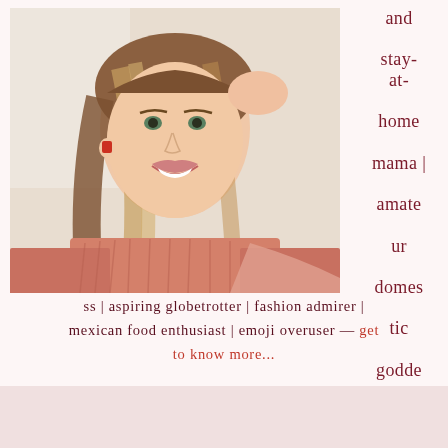[Figure (photo): A smiling woman with long blonde/brown hair wearing a pink/orange ribbed sweater, taking a selfie-style photo against a bright background.]
and stay-at-home mama | amateur domestic goddess | aspiring globetrotter | fashion admirer | mexican food enthusiast | emoji overuser — get to know more...